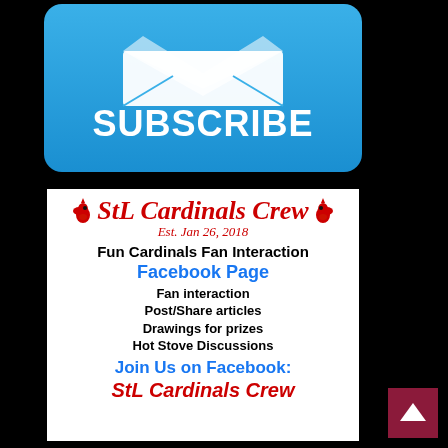[Figure (illustration): Blue rounded rectangle subscribe button with envelope icon and text SUBSCRIBE in white]
[Figure (infographic): StL Cardinals Crew Facebook page promotional card with logo, established date Jan 26 2018, and list of features: Fun Cardinals Fan Interaction, Facebook Page, Fan interaction, Post/Share articles, Drawings for prizes, Hot Stove Discussions, Join Us on Facebook: StL Cardinals Crew]